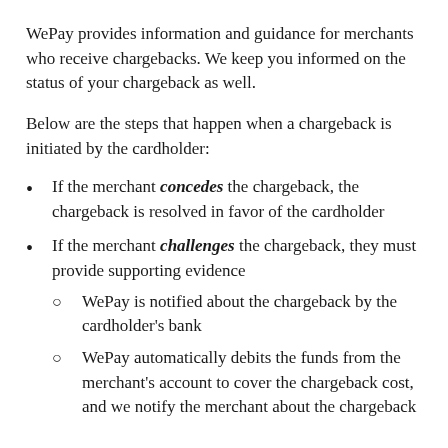WePay provides information and guidance for merchants who receive chargebacks. We keep you informed on the status of your chargeback as well.
Below are the steps that happen when a chargeback is initiated by the cardholder:
If the merchant concedes the chargeback, the chargeback is resolved in favor of the cardholder
If the merchant challenges the chargeback, they must provide supporting evidence
WePay is notified about the chargeback by the cardholder's bank
WePay automatically debits the funds from the merchant's account to cover the chargeback cost, and we notify the merchant about the chargeback